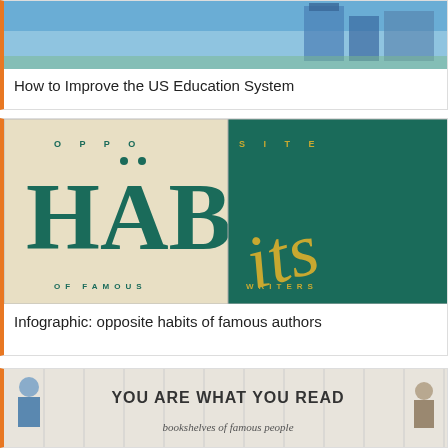[Figure (infographic): Banner image for 'How to Improve the US Education System' article showing school-related illustration in blue tones]
How to Improve the US Education System
[Figure (infographic): Opposite Habits of Famous Writers infographic with 'HAB' in dark green on beige left side and cursive 'its' in gold on dark green right side, with 'OPPOSITE' across top and 'OF FAMOUS WRITERS' across bottom]
Infographic: opposite habits of famous authors
[Figure (infographic): You Are What You Read — bookshelves of famous people infographic showing vintage-style illustration with text 'YOU ARE WHAT YOU READ' and subtitle 'bookshelves of famous people']